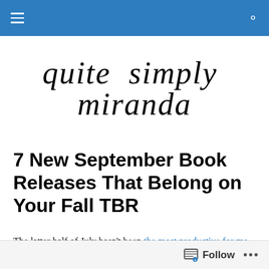Navigation bar with hamburger menu and search icon
[Figure (logo): Cursive script logo reading 'quite simply miranda']
7 New September Book Releases That Belong on Your Fall TBR
The latter half of July hasn't been the most productive for me as a reader either. I believe my final monthly total was just 11 books, which is significantly down from what I was
Follow